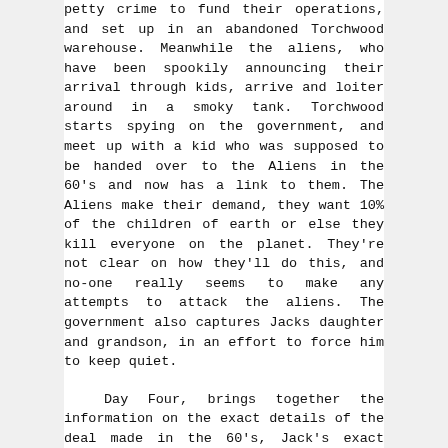petty crime to fund their operations, and set up in an abandoned Torchwood warehouse. Meanwhile the aliens, who have been spookily announcing their arrival through kids, arrive and loiter around in a smoky tank. Torchwood starts spying on the government, and meet up with a kid who was supposed to be handed over to the Aliens in the 60's and now has a link to them. The Aliens make their demand, they want 10% of the children of earth or else they kill everyone on the planet. They're not clear on how they'll do this, and no-one really seems to make any attempts to attack the aliens. The government also captures Jacks daughter and grandson, in an effort to force him to keep quiet.
Day Four, brings together the information on the exact details of the deal made in the 60's, Jack's exact involvement, and Torchwood spies on the Governments plans to hand over